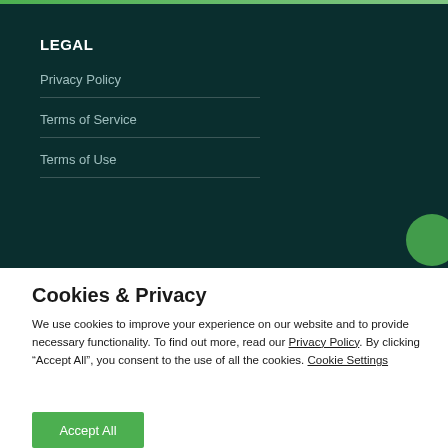LEGAL
Privacy Policy
Terms of Service
Terms of Use
Cookies & Privacy
We use cookies to improve your experience on our website and to provide necessary functionality. To find out more, read our Privacy Policy. By clicking “Accept All”, you consent to the use of all the cookies. Cookie Settings